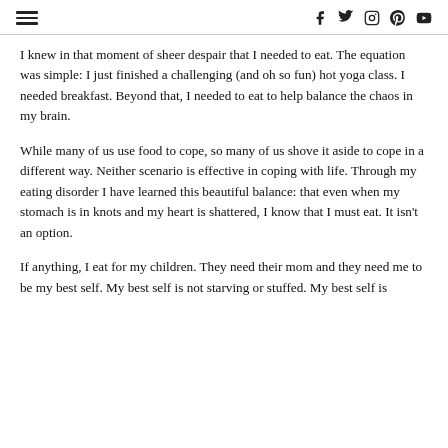[hamburger menu] [social icons: facebook, twitter, instagram, pinterest, youtube]
I knew in that moment of sheer despair that I needed to eat. The equation was simple: I just finished a challenging (and oh so fun) hot yoga class. I needed breakfast. Beyond that, I needed to eat to help balance the chaos in my brain.
While many of us use food to cope, so many of us shove it aside to cope in a different way. Neither scenario is effective in coping with life. Through my eating disorder I have learned this beautiful balance: that even when my stomach is in knots and my heart is shattered, I know that I must eat. It isn't an option.
If anything, I eat for my children. They need their mom and they need me to be my best self. My best self is not starving or stuffed. My best self is